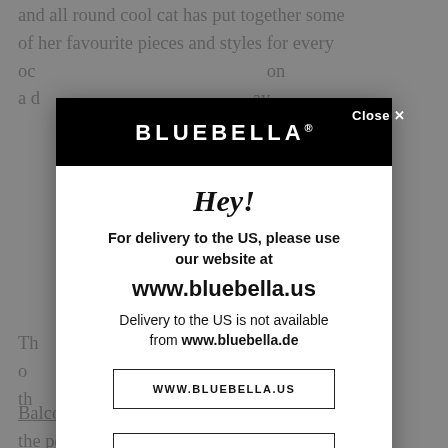and all round cool cat has put together some of her favourite pieces and styles for every oc... on a d... ay,
[Figure (screenshot): Bluebella modal popup dialog with black header showing BLUEBELLA® brand name, white body containing: 'Hey!' heading in bold italic, message 'For delivery to the US, please use our website at www.bluebella.us', warning 'Delivery to the US is not available from www.bluebella.de', two buttons: 'WWW.BLUEBELLA.US' and 'NO THANKS, I'LL STAY', and a Close button in the top right corner.]
Balcony, Plunge or Soft Cup Bra, each lending the perfect level of support whilst the Scandi-